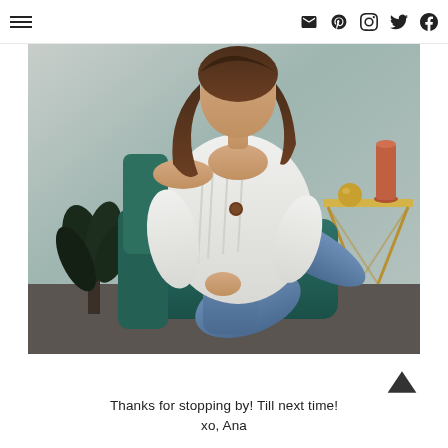≡ [hamburger menu] | [email] [pinterest] [instagram] [twitter] [facebook]
[Figure (photo): A young woman with brown hair wearing a white knit off-shoulder cardigan and blue jeans, sitting on a teal velvet chair. There is a plant to the left and a gold side table with decorative items on the right. The background is light gray.]
Thanks for stopping by! Till next time!
xo, Ana